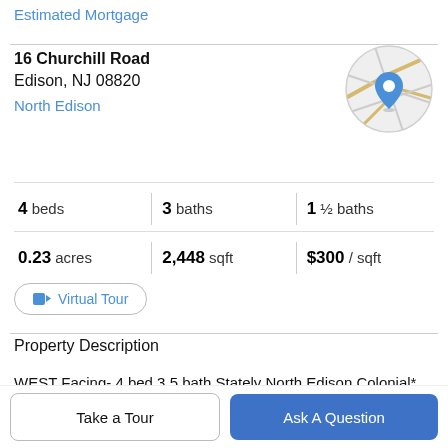Estimated Mortgage
16 Churchill Road
Edison, NJ 08820
North Edison
[Figure (map): Circular map thumbnail showing street map with a blue location pin marker over North Edison area.]
4 beds   3 baths   1 ½ baths
0.23 acres   2,448 sqft   $300 / sqft
Virtual Tour
Property Description
WEST Facing- 4 bed 3.5 bath Stately North Edison Colonial* Built in 1987 wt Over 2400 sqft of gracious
Take a Tour
Ask A Question